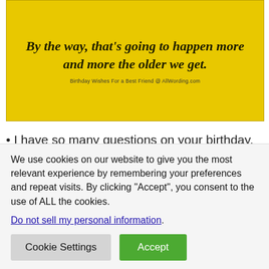[Figure (illustration): Yellow background image with italic bold text quote: 'By the way, that's going to happen more and more the older we get.' with attribution 'Birthday Wishes For a Best Friend @ AllWording.com']
• I have so many questions on your birthday. What did I do to deserve a wonderful best friend like you? Could you be any more awesome? And most puzzling, how are you going to fit all those candles on your birthday cake
We use cookies on our website to give you the most relevant experience by remembering your preferences and repeat visits. By clicking "Accept", you consent to the use of ALL the cookies.
Do not sell my personal information.